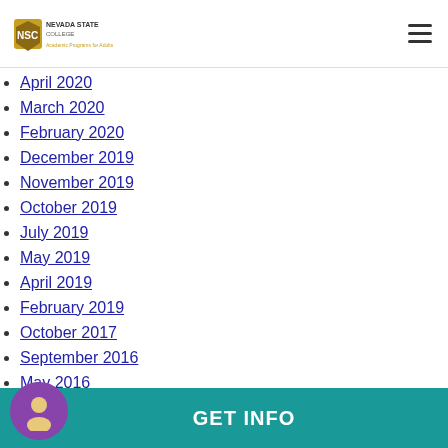Nevada State College — Academic Programs for Adults
April 2020
March 2020
February 2020
December 2019
November 2019
October 2019
July 2019
May 2019
April 2019
February 2019
October 2017
September 2016
May 2016
March 2016
GET INFO